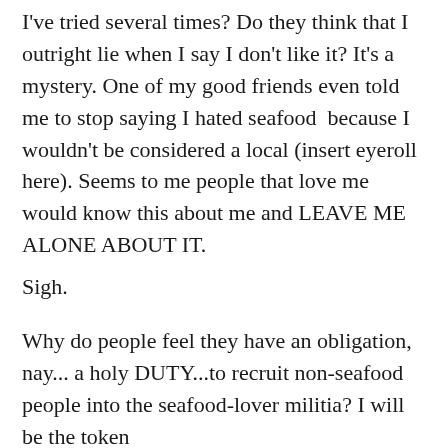I've tried several times? Do they think that I outright lie when I say I don't like it? It's a mystery. One of my good friends even told me to stop saying I hated seafood  because I wouldn't be considered a local (insert eyeroll here). Seems to me people that love me would know this about me and LEAVE ME ALONE ABOUT IT.
Sigh.
Why do people feel they have an obligation, nay... a holy DUTY...to recruit non-seafood people into the seafood-lover militia? I will be the token